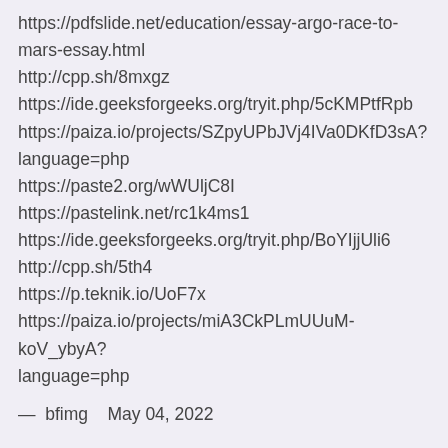https://pdfslide.net/education/essay-argo-race-to-mars-essay.html
http://cpp.sh/8mxgz
https://ide.geeksforgeeks.org/tryit.php/5cKMPtfRpb
https://paiza.io/projects/SZpyUPbJVj4IVa0DKfD3sA?language=php
https://paste2.org/wWUljC8I
https://pastelink.net/rc1k4ms1
https://ide.geeksforgeeks.org/tryit.php/BoYIjjUli6
http://cpp.sh/5th4
https://p.teknik.io/UoF7x
https://paiza.io/projects/miA3CkPLmUUuM-koV_ybyA?language=php
— bfimg   May 04, 2022
Very informative article. Such an amazing and helpful post.
https://ipsnews.net/business/2022/04/18/golden-after-50-rembalance-reviews-shocking-customer-report/